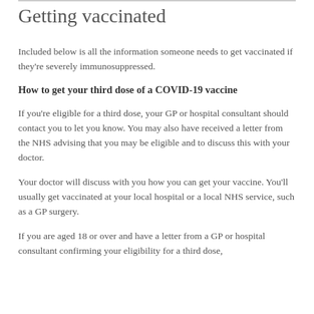Getting vaccinated
Included below is all the information someone needs to get vaccinated if they're severely immunosuppressed.
How to get your third dose of a COVID-19 vaccine
If you're eligible for a third dose, your GP or hospital consultant should contact you to let you know. You may also have received a letter from the NHS advising that you may be eligible and to discuss this with your doctor.
Your doctor will discuss with you how you can get your vaccine. You'll usually get vaccinated at your local hospital or a local NHS service, such as a GP surgery.
If you are aged 18 or over and have a letter from a GP or hospital consultant confirming your eligibility for a third dose,